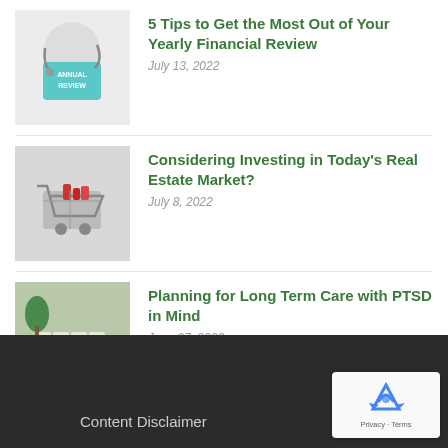[Figure (photo): Thumbnail image showing a stethoscope and a card labeled 'ANNUAL REVIEW' on white background]
5 Tips to Get the Most Out of Your Yearly Financial Review
July 13, 2022
[Figure (photo): Thumbnail image showing a miniature shopping cart with items, representing real estate investing]
Considering Investing in Today's Real Estate Market?
July 8, 2022
[Figure (photo): Thumbnail image showing wooden letter blocks spelling PTSD on a keyboard, with green plant in background]
Planning for Long Term Care with PTSD in Mind
June 27, 2022
Content Disclaimer